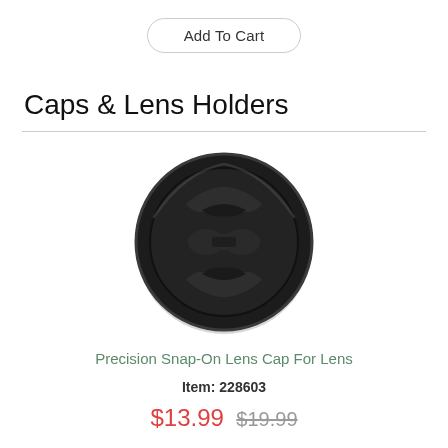Add To Cart
Caps & Lens Holders
[Figure (photo): A black circular precision snap-on lens cap for a camera lens, viewed from the front, showing the center pinch mechanism with two tabs at top and bottom and a bow-tie shaped center grip.]
Precision Snap-On Lens Cap For Lens
Item: 228603
$13.99  $19.99